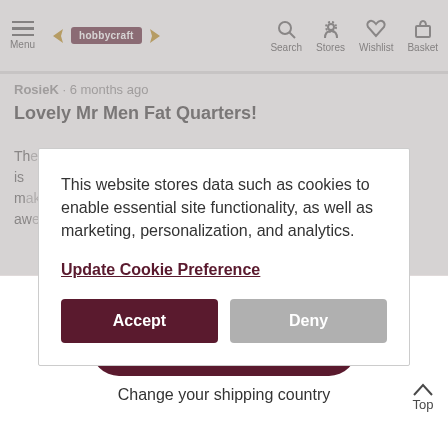Menu | hobbycraft | Search | Stores | Wishlist | Basket
RosieK · 6 months ago
Lovely Mr Men Fat Quarters!
This website stores data such as cookies to enable essential site functionality, as well as marketing, personalization, and analytics.
Update Cookie Preference
Accept
Deny
Continue to shop
Change your shipping country